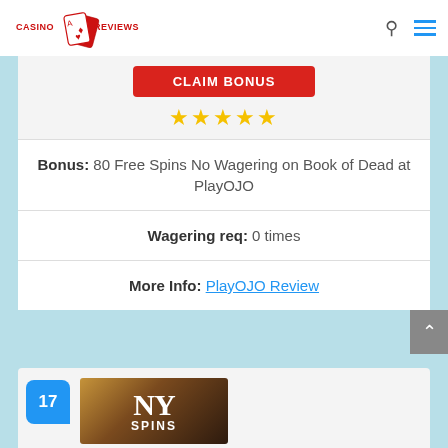Casino Reviews
[Figure (logo): Casino Reviews logo with playing cards]
CLAIM BONUS
[Figure (other): 5 gold star rating]
Bonus: 80 Free Spins No Wagering on Book of Dead at PlayOJO
Wagering req: 0 times
More Info: PlayOJO Review
17
[Figure (photo): NYSpins casino logo with New York City skyline background]